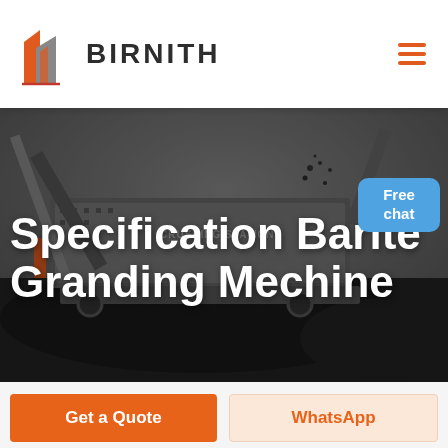[Figure (logo): Birnith company logo with orange and grey building icon and the text BIRNITH in bold uppercase, with a hamburger menu icon on the right]
[Figure (photo): Industrial crushing station machinery photograph in dark greyscale tones showing heavy equipment, conveyor belts, and ore/rock material]
Specification Barite Granding Mechine
Free chat
Get a Quote
WhatsApp